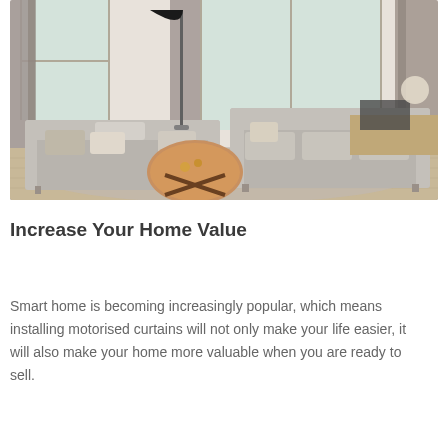[Figure (photo): Interior photo of a modern living room with two grey sofas, a round wooden coffee table, large windows with grey curtains, a floor lamp, and a desk in the background.]
Increase Your Home Value
Smart home is becoming increasingly popular, which means installing motorised curtains will not only make your life easier, it will also make your home more valuable when you are ready to sell.